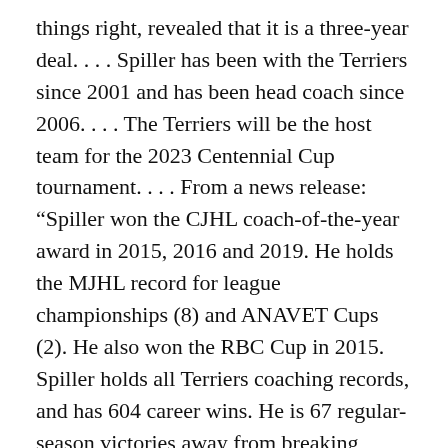things right, revealed that it is a three-year deal. . . . Spiller has been with the Terriers since 2001 and has been head coach since 2006. . . . The Terriers will be the host team for the 2023 Centennial Cup tournament. . . . From a news release: “Spiller won the CJHL coach-of-the-year award in 2015, 2016 and 2019. He holds the MJHL record for league championships (8) and ANAVET Cups (2). He also won the RBC Cup in 2015. Spiller holds all Terriers coaching records, and has 604 career wins. He is 67 regular-season victories away from breaking Doug Stokes’ all-time MJHL record.” . . .
Scott Burt, a former WHL player and coach, now is the general manager and head coach of